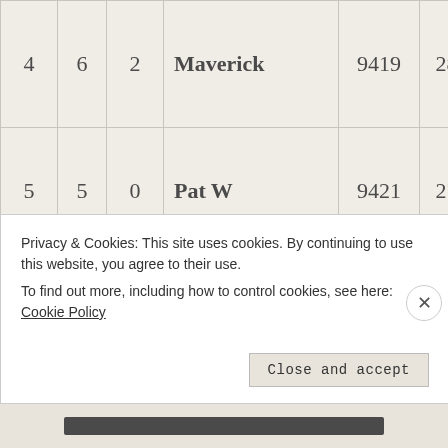| # | W | L/Diff | Name | Score1 | Score2 | Total | Pts |
| --- | --- | --- | --- | --- | --- | --- | --- |
| 4 | 6 | 2 | Maverick | 9419 | 284 | 9703 | 149 |
| 5 | 5 | 0 | Pat W | 9421 | 270 | 9691 | 12 |
| 6 | 4 | -2 | Felipe Gana | 9450 | 229 | 9679 | 12 |
| 7 | 7 | 0 | The Speedgeek | 9362 | 239 | 9601 | 78 |
Privacy & Cookies: This site uses cookies. By continuing to use this website, you agree to their use.
To find out more, including how to control cookies, see here: Cookie Policy